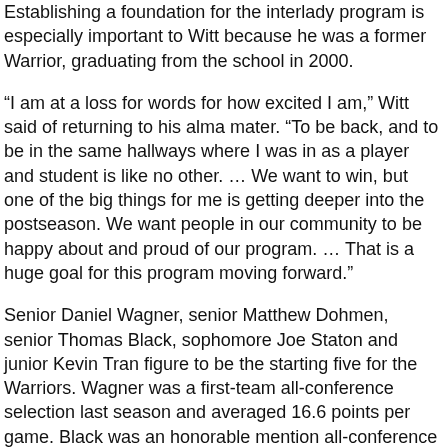Establishing a foundation for the interlady program is especially important to Witt because he was a former Warrior, graduating from the school in 2000.
“I am at a loss for words for how excited I am,” Witt said of returning to his alma mater. “To be back, and to be in the same hallways where I was in as a player and student is like no other. … We want to win, but one of the big things for me is getting deeper into the postseason. We want people in our community to be happy about and proud of our program. … That is a huge goal for this program moving forward.”
Senior Daniel Wagner, senior Matthew Dohmen, senior Thomas Black, sophomore Joe Staton and junior Kevin Tran figure to be the starting five for the Warriors. Wagner was a first-team all-conference selection last season and averaged 16.6 points per game. Black was an honorable mention all-conference player a year ago, averaging 11.6 points and 9.1 rebounds per contest.